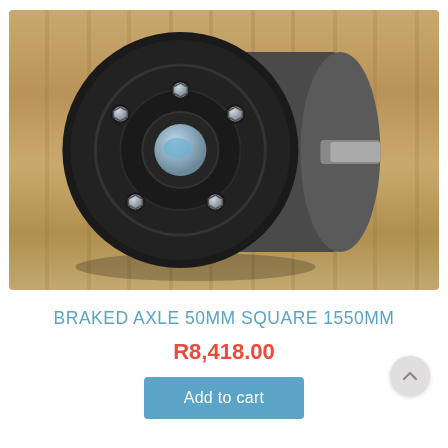[Figure (photo): Close-up photo of a black braked axle hub with five silver bolts and a silver center cap, resting on a wooden plank surface. The axle shaft extends to the right side of the image.]
BRAKED AXLE 50MM SQUARE 1550MM
R8,418.00
Add to cart